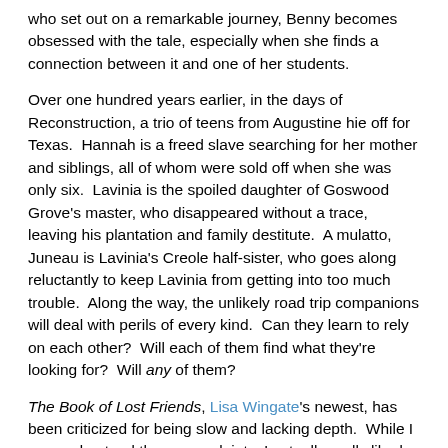who set out on a remarkable journey, Benny becomes obsessed with the tale, especially when she finds a connection between it and one of her students.
Over one hundred years earlier, in the days of Reconstruction, a trio of teens from Augustine hie off for Texas.  Hannah is a freed slave searching for her mother and siblings, all of whom were sold off when she was only six.  Lavinia is the spoiled daughter of Goswood Grove's master, who disappeared without a trace, leaving his plantation and family destitute.  A mulatto, Juneau is Lavinia's Creole half-sister, who goes along reluctantly to keep Lavinia from getting into too much trouble.  Along the way, the unlikely road trip companions will deal with perils of every kind.  Can they learn to rely on each other?  Will each of them find what they're looking for?  Will any of them?
The Book of Lost Friends, Lisa Wingate's newest, has been criticized for being slow and lacking depth.  While I can understand these complaints, I actually really liked the novel.  It introduced me to a piece of Reconstruction era history that I'd never heard of—"Lost Friends"